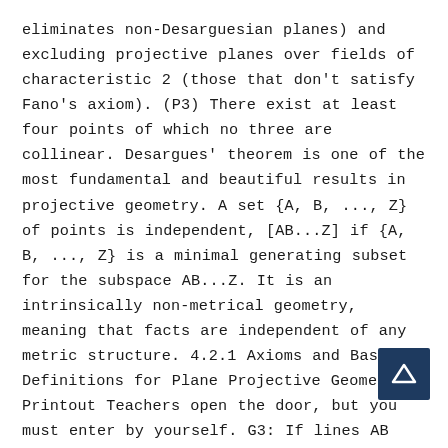eliminates non-Desarguesian planes) and excluding projective planes over fields of characteristic 2 (those that don't satisfy Fano's axiom). (P3) There exist at least four points of which no three are collinear. Desargues' theorem is one of the most fundamental and beautiful results in projective geometry. A set {A, B, ..., Z} of points is independent, [AB...Z] if {A, B, ..., Z} is a minimal generating subset for the subspace AB...Z. It is an intrinsically non-metrical geometry, meaning that facts are independent of any metric structure. 4.2.1 Axioms and Basic Definitions for Plane Projective Geometry Printout Teachers open the door, but you must enter by yourself. G3: If lines AB and CD intersect, then so do lines AC and BD (where it is assumed that A and D are distinct from B and C). The composition of two perspectivities is no longer a perspectivity, but a projectivity. [2] Since projective geometry excludes
[Figure (other): Navigation button with upward triangle arrow on dark blue background, positioned at bottom right]